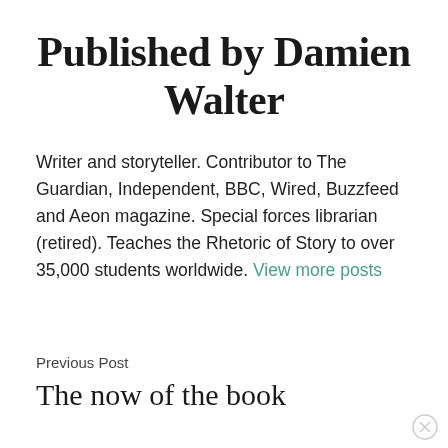Published by Damien Walter
Writer and storyteller. Contributor to The Guardian, Independent, BBC, Wired, Buzzfeed and Aeon magazine. Special forces librarian (retired). Teaches the Rhetoric of Story to over 35,000 students worldwide. View more posts
Previous Post
The now of the book